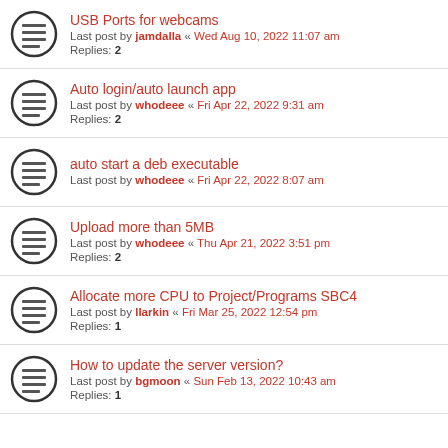USB Ports for webcams
Last post by jamdalla « Wed Aug 10, 2022 11:07 am
Replies: 2
Auto login/auto launch app
Last post by whodeee « Fri Apr 22, 2022 9:31 am
Replies: 2
auto start a deb executable
Last post by whodeee « Fri Apr 22, 2022 8:07 am
Upload more than 5MB
Last post by whodeee « Thu Apr 21, 2022 3:51 pm
Replies: 2
Allocate more CPU to Project/Programs SBC4
Last post by llarkin « Fri Mar 25, 2022 12:54 pm
Replies: 1
How to update the server version?
Last post by bgmoon « Sun Feb 13, 2022 10:43 am
Replies: 1